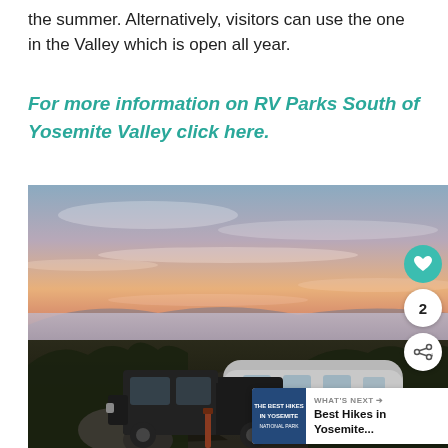the summer. Alternatively, visitors can use the one in the Valley which is open all year.
For more information on RV Parks South of Yosemite Valley click here.
[Figure (photo): A sunset photo showing an Airstream RV trailer towed by a dark pickup truck, parked near coastal scrub vegetation with a colorful pink and purple sky over the ocean in the background. The photo has social media UI overlays: a teal heart button, a share button, a count of 2, and a 'WHAT'S NEXT' card showing 'Best Hikes in Yosemite...'.]